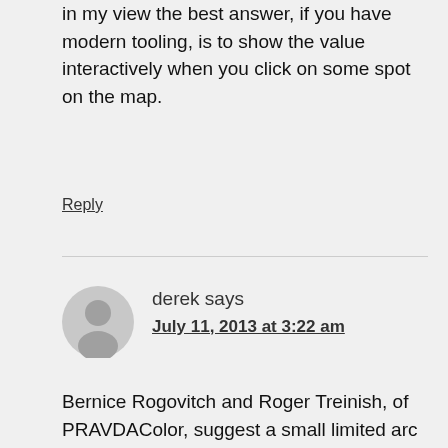in my view the best answer, if you have modern tooling, is to show the value interactively when you click on some spot on the map.
Reply
derek says
July 11, 2013 at 3:22 am
Bernice Rogovitch and Roger Treinish, of PRAVDAColor, suggest a small limited arc around the color circle can help, and I agree. So red/orange/yellow, or green/cyan/blue is okay: the fact that it's an incomplete arc of the color circle gets round the problem that a